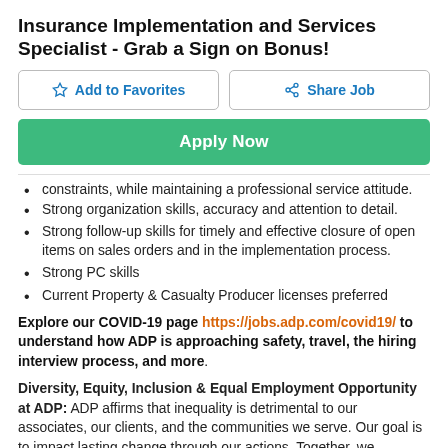Insurance Implementation and Services Specialist - Grab a Sign on Bonus!
[Figure (screenshot): Two buttons: 'Add to Favorites' (with star icon) and 'Share Job' (with share icon), side by side with outlines]
[Figure (screenshot): Green 'Apply Now' button]
constraints, while maintaining a professional service attitude.
Strong organization skills, accuracy and attention to detail.
Strong follow-up skills for timely and effective closure of open items on sales orders and in the implementation process.
Strong PC skills
Current Property & Casualty Producer licenses preferred
Explore our COVID-19 page https://jobs.adp.com/covid19/ to understand how ADP is approaching safety, travel, the hiring interview process, and more.
Diversity, Equity, Inclusion & Equal Employment Opportunity at ADP: ADP affirms that inequality is detrimental to our associates, our clients, and the communities we serve. Our goal is to impact lasting change through our actions. Together, we